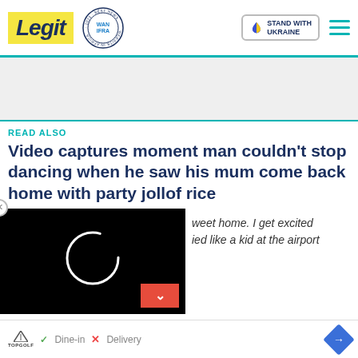Legit — STAND WITH UKRAINE
[Figure (other): Gray advertisement banner area]
READ ALSO
Video captures moment man couldn't stop dancing when he saw his mum come back home with party jollof rice
[Figure (screenshot): Black video player with spinning loading circle and red down arrow button]
...weet home. I get excited ...ied like a kid at the airport
TopGolf ad — Dine-in × Delivery